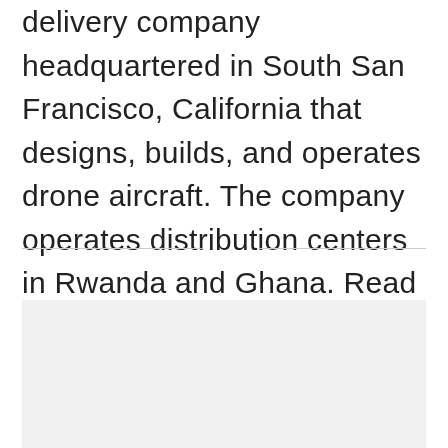delivery company headquartered in South San Francisco, California that designs, builds, and operates drone aircraft. The company operates distribution centers in Rwanda and Ghana. Read some  Amazing Facts About Zipline Technology…
[Figure (other): Advertisement or placeholder box with light gray background]